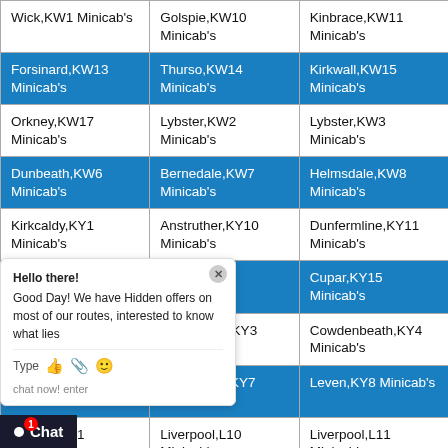| Wick,KW1 Minicab's | Golspie,KW10 Minicab's | Kinbrace,KW11 Minicab's |
| Forsinard,KW13 Minicab's | Thurso,KW14 Minicab's | Kirkwall,KW15 Minicab's |
| Orkney,KW17 Minicab's | Lybster,KW2 Minicab's | Lybster,KW3 Minicab's |
| Dunbeath,KW6 Minicab's | Bernedale,KW7 Minicab's | Helmsdale,KW8 Minicab's |
| Kirkcaldy,KY1 Minicab's | Anstruther,KY10 Minicab's | Dunfermline,KY11 Minicab's |
| Kinross,KY13 Minicab's | Cupar,KY14 Minicab's | Cupar,KY15 Minicab's |
| Kirkcaldy,KY2 Minicab's | Burntisland,KY3 Minicab's | Cowdenbeath,KY4 Minicab's |
| Glenrothes,KY6 Minicab's | Glenrothes,KY7 Minicab's | Leven,KY8 Minicab's |
| Liverpool,L1 Minicab's | Liverpool,L10 Minicab's | Liverpool,L11 Minicab's |
| Liverpool,L13 Minicab's | Liverpool,L14 Minicab's | Liverpool,L15 Minicab's |